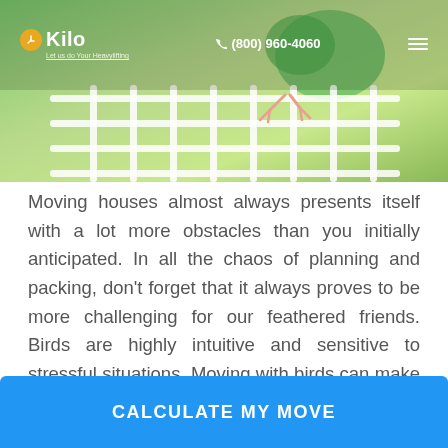[Figure (photo): A green budgerigar/parakeet clinging to white wire cage bars, photographed from below against a bright background. Navigation bar overlaid on top showing Kilo logo, phone number (800) 960-4060, and hamburger menu.]
Kilo — Let us do Your Heavylifting | (800) 960-4060
Moving houses almost always presents itself with a lot more obstacles than you initially anticipated. In all the chaos of planning and packing, don't forget that it always proves to be more challenging for our feathered friends. Birds are highly intuitive and sensitive to stressful situations. Moving with birds can make them feel hassled, as the mounds of boxes and new house adjustment are almost as tough to navigate as the journey itself. From steps to take in preparation of the move, to transportation-related advice, to caring for them
CALCULATE MY MOVE